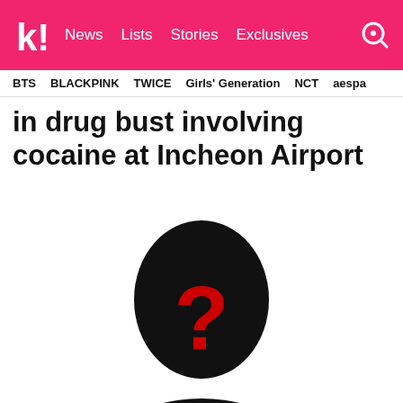Koreaboo — News | Lists | Stories | Exclusives
BTS  BLACKPINK  TWICE  Girls' Generation  NCT  aespa
in drug bust involving cocaine at Incheon Airport
[Figure (illustration): Black silhouette of a person with a red question mark on their face, representing an unknown identity.]